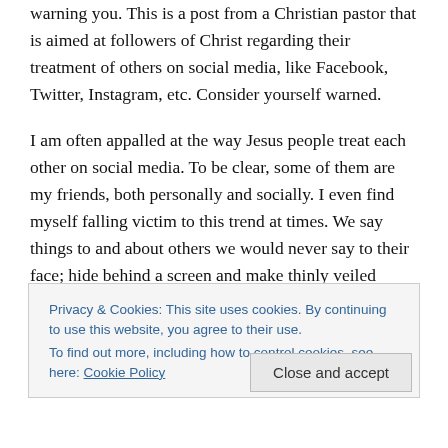warning you. This is a post from a Christian pastor that is aimed at followers of Christ regarding their treatment of others on social media, like Facebook, Twitter, Instagram, etc. Consider yourself warned.
I am often appalled at the way Jesus people treat each other on social media. To be clear, some of them are my friends, both personally and socially. I even find myself falling victim to this trend at times. We say things to and about others we would never say to their face; hide behind a screen and make thinly veiled accusations and threats; write paragraphs of “pity party” ramblings designed to get
Privacy & Cookies: This site uses cookies. By continuing to use this website, you agree to their use.
To find out more, including how to control cookies, see here: Cookie Policy
Close and accept